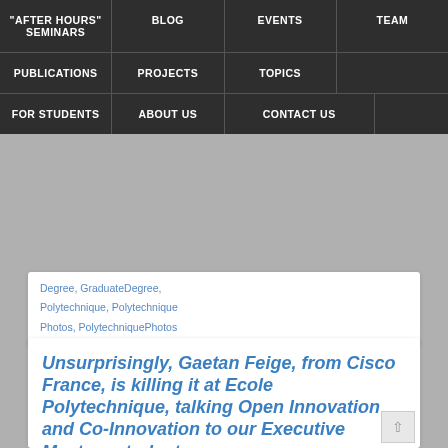"AFTER HOURS" SEMINARS | BLOG | EVENTS | TEAM | PUBLICATIONS | PROJECTS | TOPICS | FOR STUDENTS | ABOUT US | CONTACT US
Degree, GraduateDegree, Polytechnique, Polytechnique Photos, PolytechniquePhotos
Unsurprisingly, Gaetan Feige, from Cisco France, is killing it at Ecole Polytechnique, talking Open Innovation and Co-Innovation to our Executive Masters students
Thomas Heide Clausen | November 6, 2018
Unsurprisingly, Gaetan Feige, from Cisco France, is killing it at Ecole Polytechnique, talking Open Innovation and Co-Innovation to our Executive Masters students. Incredibly interesting to hear how he, and Cisco, undertakes, co-